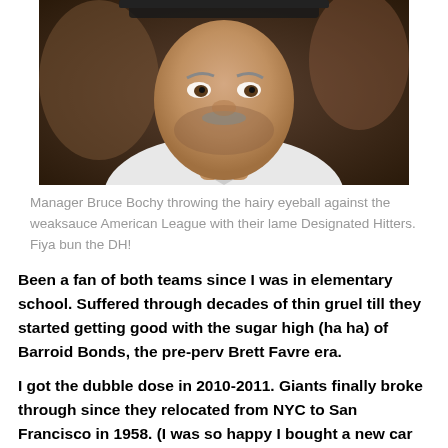[Figure (photo): Close-up photo of a baseball manager (Bruce Bochy) wearing a white baseball jersey with a Nike logo, with a blurred background.]
Manager Bruce Bochy throwing the hairy eyeball against the weaksauce American League with their lame Designated Hitters. Fiya bun the DH!
Been a fan of both teams since I was in elementary school.  Suffered through decades of thin gruel till they started getting good with the sugar high (ha ha) of Barroid Bonds, the pre-perv Brett Favre era.
I got the dubble dose in 2010-2011. Giants finally broke through since they relocated from NYC to San Francisco in 1958. (I was so happy I bought a new car the day after they spanked the Rangers 4 games to 1)